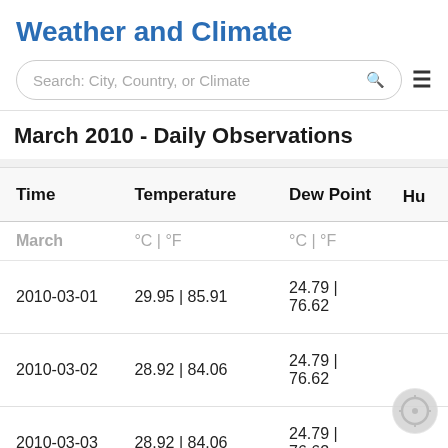Weather and Climate
[Figure (screenshot): Search bar with placeholder text 'Search: City, Country, or Climate' and a hamburger menu icon]
March 2010 - Daily Observations
| Time | Temperature | Dew Point | Hum |
| --- | --- | --- | --- |
| March | °C | °F | °C | °F |  |
| 2010-03-01 | 29.95 | 85.91 | 24.79 | 76.62 |  |
| 2010-03-02 | 28.92 | 84.06 | 24.79 | 76.62 |  |
| 2010-03-03 | 28.92 | 84.06 | 24.79 | 76.62 |  |
| 2010-03-04 | 28.92 | 84.06 | 25.82 | 78.48 |  |